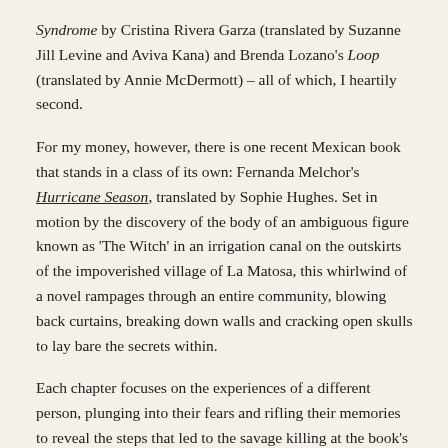Syndrome by Cristina Rivera Garza (translated by Suzanne Jill Levine and Aviva Kana) and Brenda Lozano's Loop (translated by Annie McDermott) – all of which, I heartily second.
For my money, however, there is one recent Mexican book that stands in a class of its own: Fernanda Melchor's Hurricane Season, translated by Sophie Hughes. Set in motion by the discovery of the body of an ambiguous figure known as 'The Witch' in an irrigation canal on the outskirts of the impoverished village of La Matosa, this whirlwind of a novel rampages through an entire community, blowing back curtains, breaking down walls and cracking open skulls to lay bare the secrets within.
Each chapter focuses on the experiences of a different person, plunging into their fears and rifling their memories to reveal the steps that led to the savage killing at the book's heart. Circling around and around, often rehearsing the same incidents several times in different words, the narrative smashes together intimacy and violence, beauty and filth, creating an accretion of details that coheres into a compelling and disturbing exploration of scapegoating and the legacy of abuse.